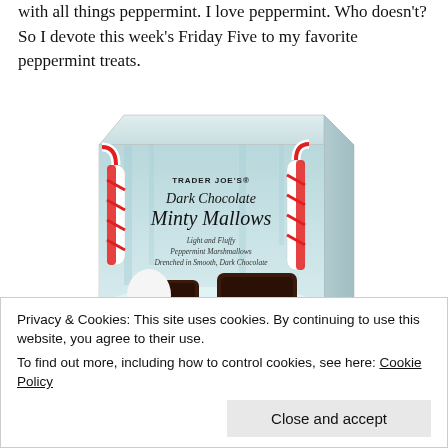with all things peppermint. I love peppermint. Who doesn't? So I devote this week's Friday Five to my favorite peppermint treats.
[Figure (photo): Trader Joe's Dark Chocolate Minty Mallows box — a holiday-themed box with light blue background, candy canes, and dark chocolate-covered marshmallows. Text on box reads: TRADER JOE'S, Dark Chocolate Minty Mallows, Light and Fluffy Peppermint Marshmallows Drenched in Smooth, Dark Chocolate. NET WT. 7 OZ (200g).]
Privacy & Cookies: This site uses cookies. By continuing to use this website, you agree to their use.
To find out more, including how to control cookies, see here: Cookie Policy
Close and accept